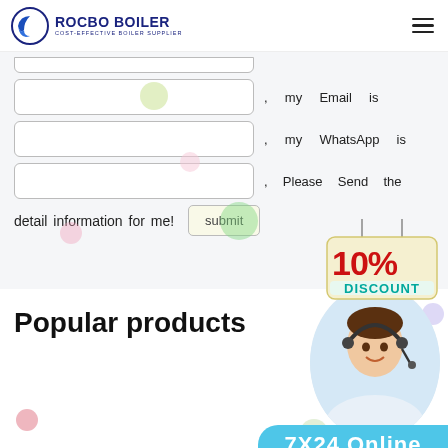[Figure (logo): Rocbo Boiler logo with circular emblem and text 'ROCBO BOILER COST-EFFECTIVE BOILER SUPPLIER']
, my Email is
, my WhatsApp is
, Please Send the detail information for me!
[Figure (illustration): 10% DISCOUNT hanging sign badge in red and teal]
Popular products
[Figure (photo): Customer service representative wearing headset, smiling]
7X24 Online